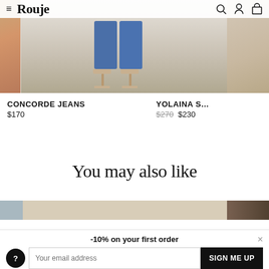Rouje
[Figure (photo): Fashion product carousel showing blue wide-leg jeans with heeled sandals on a light background, partial view of another product on right]
CONCORDE JEANS
$170
YOLAINA S…
$270 $230
You may also like
[Figure (photo): Bottom strip showing partial product images in blue, beige, and dark tones]
-10% on your first order
Your email address
SIGN ME UP